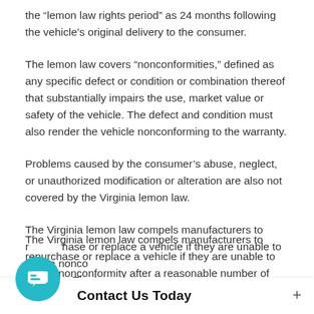the “lemon law rights period” as 24 months following the vehicle’s original delivery to the consumer.
The lemon law covers “nonconformities,” defined as any specific defect or condition or combination thereof that substantially impairs the use, market value or safety of the vehicle. The defect and condition must also render the vehicle nonconforming to the warranty.
Problems caused by the consumer’s abuse, neglect, or unauthorized modification or alteration are also not covered by the Virginia lemon law.
The Virginia lemon law compels manufacturers to repurchase or replace a vehicle if they are unable to cure a nonconformity after a reasonable number of attempts. The le…